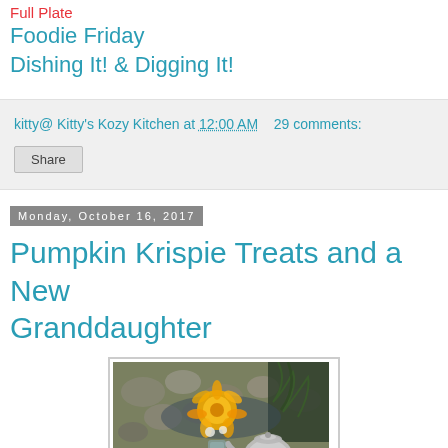Full Plate
Foodie Friday
Dishing It! & Digging It!
kitty@ Kitty's Kozy Kitchen at 12:00 AM    29 comments:
Share
Monday, October 16, 2017
Pumpkin Krispie Treats and a New Granddaughter
[Figure (photo): Outdoor table scene with a silver teapot, yellow/orange flowers in a glass vase, pumpkins, and a wicker basket on a stone background with ferns]